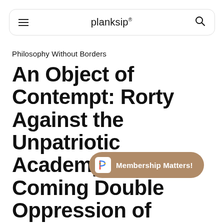planksip
Philosophy Without Borders
An Object of Contempt: Rorty Against the Unpatriotic Academy, and the Coming Double Oppression of Loyalty Oaths.
Membership Matters!